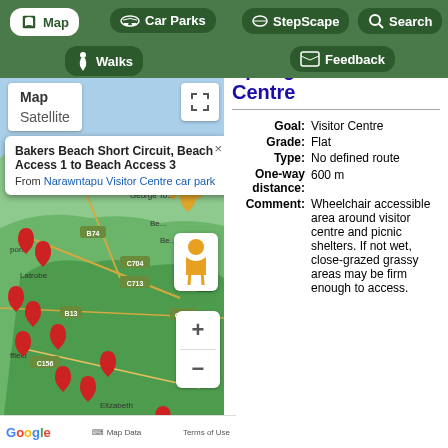[Figure (screenshot): Navigation bar with buttons: Map (active/white), Car Parks, Walks, StepScape, Search, Feedback on a dark green background]
[Figure (screenshot): Google Maps view showing Tasmania coastline with red map markers, a popup showing 'Bakers Beach Short Circuit, Beach Access 1 to Beach Access 3' from Narawntapu Visitor Centre car park, map type selector (Map/Satellite), fullscreen button, zoom controls, and Google attribution]
Foot pad
Springlawn Visitor Centre
| Field | Value |
| --- | --- |
| Goal: | Visitor Centre |
| Grade: | Flat |
| Type: | No defined route |
| One-way distance: | 600 m |
| Comment: | Wheelchair accessible area around visitor centre and picnic shelters. If not wet, close-grazed grassy areas may be firm enough to access. |